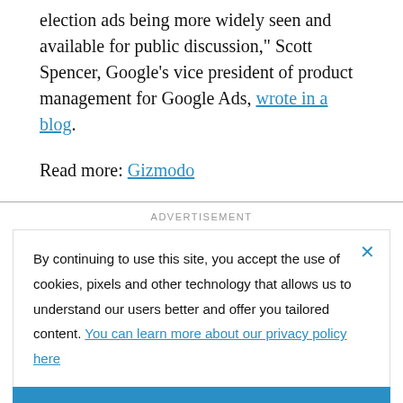election ads being more widely seen and available for public discussion," Scott Spencer, Google's vice president of product management for Google Ads, wrote in a blog.
Read more: Gizmodo
ADVERTISEMENT
By continuing to use this site, you accept the use of cookies, pixels and other technology that allows us to understand our users better and offer you tailored content. You can learn more about our privacy policy here